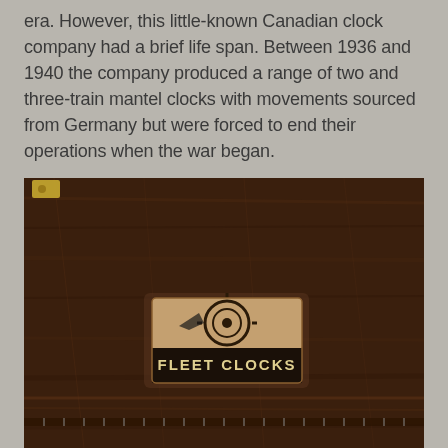era. However, this little-known Canadian clock company had a brief life span. Between 1936 and 1940 the company produced a range of two and three-train mantel clocks with movements sourced from Germany but were forced to end their operations when the war began.
[Figure (photo): Close-up photograph of a dark wooden mantel clock surface showing a Fleet Clocks brand label/badge. The label is rectangular with an orange and black design featuring a stylized gear/clock mechanism graphic and the text 'FLEET CLOCKS' in bold letters on a black banner at the bottom.]